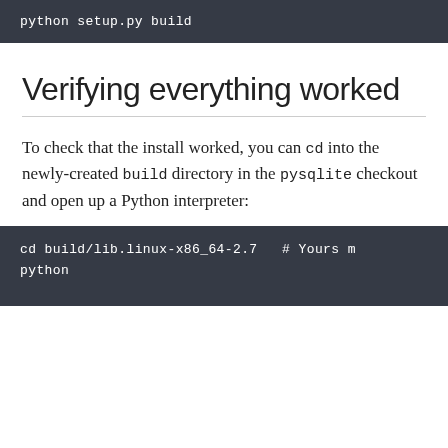[Figure (screenshot): Dark code block showing: python setup.py build]
Verifying everything worked
To check that the install worked, you can cd into the newly-created build directory in the pysqlite checkout and open up a Python interpreter:
[Figure (screenshot): Dark code block showing: cd build/lib.linux-x86_64-2.7   # Yours m
python]